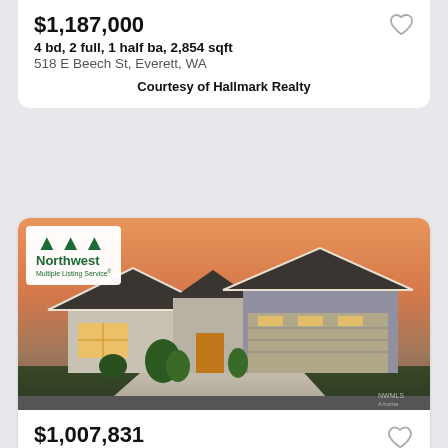$1,187,000
4 bd, 2 full, 1 half ba, 2,854 sqft
518 E Beech St, Everett, WA
Courtesy of Hallmark Realty
[Figure (photo): Exterior rendering of a single-story craftsman-style home at dusk with warm interior lighting, dark roof, gray siding, and attached garage. Northwest Multiple Listing Service logo overlaid in top-left corner.]
$1,007,831
3 bd, 3 full, 1 half ba, 3,434 sqft
6212 232nd Ave E ( Lot 202 ), Buckley, WA
Courtesy of PresGroup Realty